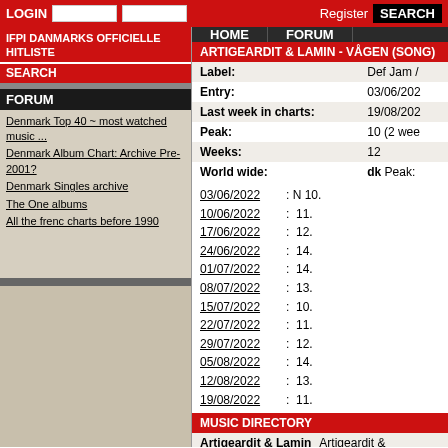LOGIN  Register  SEARCH
IFPI DANMARKS OFFICIELLE HITLISTE
SEARCH
FORUM
Denmark Top 40 ~ most watched music ...
Denmark Album Chart: Archive Pre-2001?
Denmark Singles archive
The One albums
All the frenc charts before 1990
HOME  FORUM
ARTIGEARDIT & LAMIN - VÅGEN (SONG)
| Field | Value |
| --- | --- |
| Label: | Def Jam / |
| Entry: | 03/06/202 |
| Last week in charts: | 19/08/202 |
| Peak: | 10 (2 wee |
| Weeks: | 12 |
| World wide: | dk  Peak: |
03/06/2022: N 10.
10/06/2022: 11.
17/06/2022: 12.
24/06/2022: 14.
01/07/2022: 14.
08/07/2022: 13.
15/07/2022: 10.
22/07/2022: 11.
29/07/2022: 12.
05/08/2022: 14.
12/08/2022: 13.
19/08/2022: 11.
MUSIC DIRECTORY
Artigeardit & Lamin   Artigeardit &
ARTIGEARDIT & LAMIN IN DANISH CHARTS
Singles